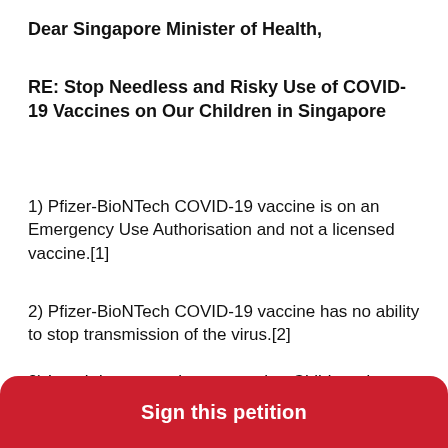Dear Singapore Minister of Health,
RE: Stop Needless and Risky Use of COVID-19 Vaccines on Our Children in Singapore
1) Pfizer-BioNTech COVID-19 vaccine is on an Emergency Use Authorisation and not a licensed vaccine.[1]
2) Pfizer-BioNTech COVID-19 vaccine has no ability to stop transmission of the virus.[2]
3) Local data strongly suggest that Children do very well without any vaccine, when infected with the Delta variant.[3]
Sign this petition